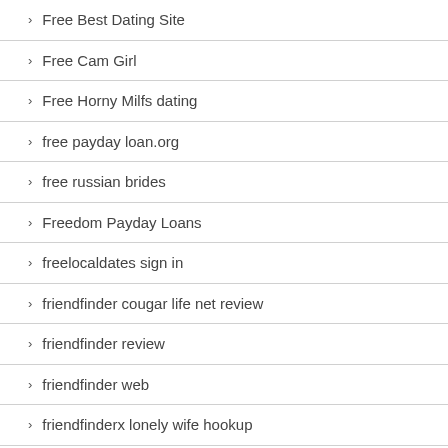Free Best Dating Site
Free Cam Girl
Free Horny Milfs dating
free payday loan.org
free russian brides
Freedom Payday Loans
freelocaldates sign in
friendfinder cougar life net review
friendfinder review
friendfinder web
friendfinderx lonely wife hookup